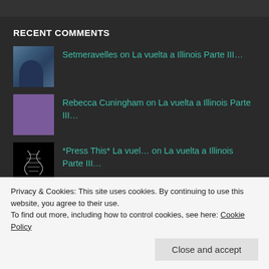RECENT COMMENTS
Setmeravelles on La vuelta a Illinois Parte III...
Rebecca Cuningham on La vuelta a Illinois Parte III...
*Press This* La vuel... on La vuelta a Illinois Parte III...
*Press This* La vuel... on La vuelta a Illinois Parte II:...
La vuelta a Illinois... on Mt. Rushmore, Yellowstone and
Privacy & Cookies: This site uses cookies. By continuing to use this website, you agree to their use.
To find out more, including how to control cookies, see here: Cookie Policy
Close and accept